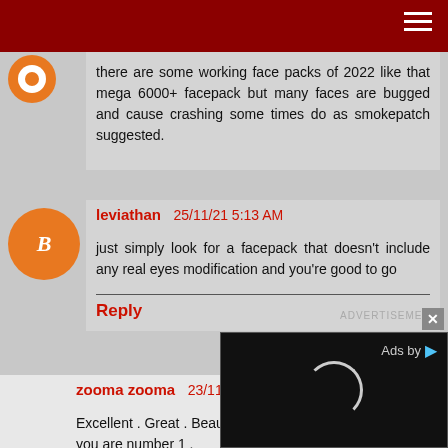there are some working face packs of 2022 like that mega 6000+ facepack but many faces are bugged and cause crashing some times do as smokepatch suggested.
leviathan  25/11/21 5:13 AM
just simply look for a facepack that doesn't include any real eyes modification and you're good to go
Reply
zooma zooma  23/11/21 4...
Excellent . Great . Beautifu...
you are number 1 .
Reply